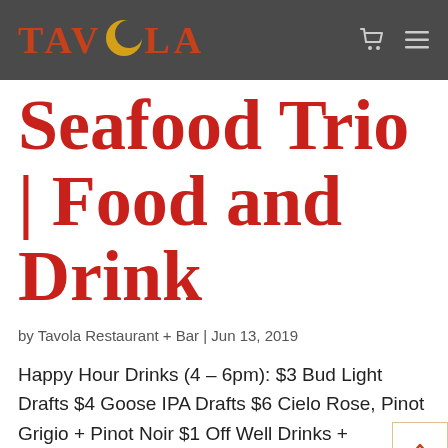[Figure (logo): Tavola restaurant logo with crescent moon graphic in orange/gold, text in dark red serif capitals on dark gray header bar]
Seafood Trio | Food and Drink
by Tavola Restaurant + Bar | Jun 13, 2019
Happy Hour Drinks (4 – 6pm): $3 Bud Light Drafts $4 Goose IPA Drafts $6 Cielo Rose, Pinot Grigio + Pinot Noir $1 Off Well Drinks + Absolut Cocktails Happy Hour Food Specials